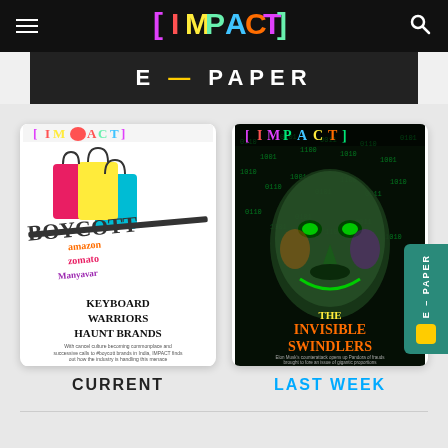[IMPACT]
E - PAPER
[Figure (illustration): IMPACT magazine cover - Keyboard Warriors Haunt Brands, showing shopping bags with boycott text and brand names (amazon, zomato, Manyavar)]
CURRENT
[Figure (illustration): IMPACT magazine cover - The Invisible Swindlers, showing a Guy Fawkes mask with digital matrix background]
LAST WEEK